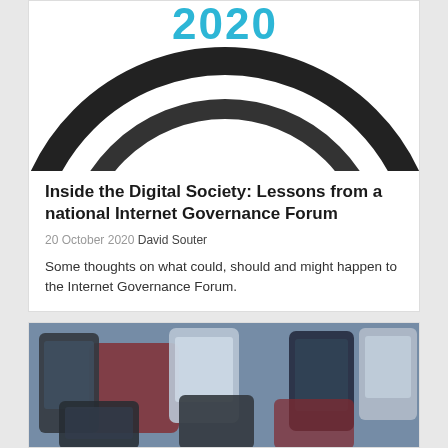[Figure (illustration): Circular graphic with '2020' text in cyan/teal and concentric arc rings in dark/black, partially cropped at top]
Inside the Digital Society: Lessons from a national Internet Governance Forum
20 October 2020  David Souter
Some thoughts on what could, should and might happen to the Internet Governance Forum.
[Figure (photo): Photo of multiple mobile phones (feature phones/smartphones) arranged together, top-down view with colorful backgrounds]